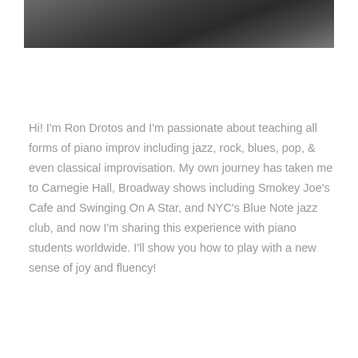[Figure (photo): A black and white photograph showing what appears to be dark fabric or clothing near a window, partially visible at the top of the page.]
Hi! I'm Ron Drotos and I'm passionate about teaching all forms of piano improv including jazz, rock, blues, pop, & even classical improvisation. My own journey has taken me to Carnegie Hall, Broadway shows including Smokey Joe's Cafe and Swinging On A Star, and NYC's Blue Note jazz club, and now I'm sharing this experience with piano students worldwide. I'll show you how to play with a new sense of joy and fluency!